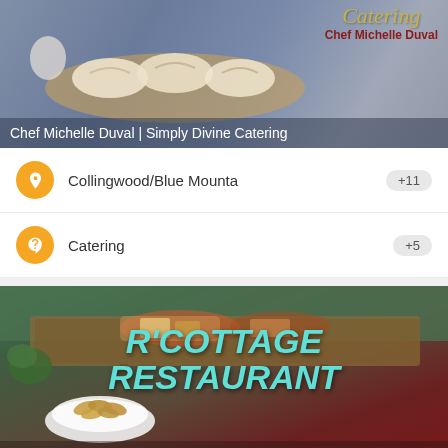[Figure (photo): Photo of dumplings/pierogi on a wooden board with catering branding overlay showing 'Catering Chef Michelle Duval' and caption 'Chef Michelle Duval | Simply Divine Catering']
Chef Michelle Duval | Simply Divine Catering
Collingwood/Blue Mountain +11
Catering +5
[Figure (photo): Photo of charcuterie/grazing table outdoors with R'Cottage Restaurant branding overlay and caption 'R'Cottage Restaurant']
R'Cottage Restaurant